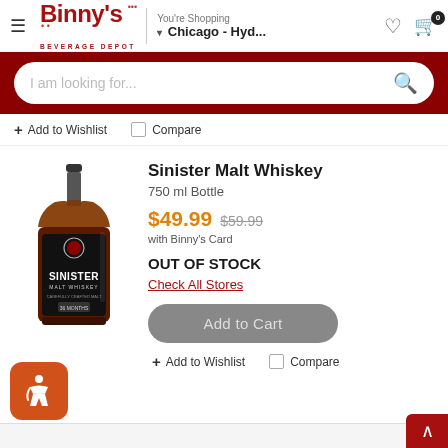Binny's Beverage Depot — You're Shopping Chicago - Hyd...
I am looking for...
+ Add to Wishlist   Compare
[Figure (photo): Bottle of Sinister Malt Whiskey with dark label]
Sinister Malt Whiskey
750 ml Bottle
$49.99  $59.99  with Binny's Card
OUT OF STOCK
Check All Stores
Add to Cart
+ Add to Wishlist   Compare